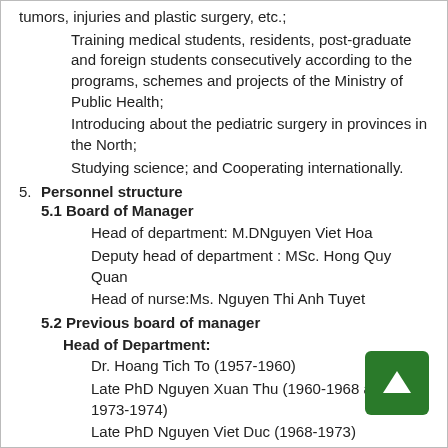tumors, injuries and plastic surgery, etc.;
Training medical students, residents, post-graduate and foreign students consecutively according to the programs, schemes and projects of the Ministry of Public Health;
Introducing about the pediatric surgery in provinces in the North;
Studying science; and Cooperating internationally.
5. Personnel structure
5.1 Board of Manager
Head of department: M.DNguyen Viet Hoa
Deputy head of department : MSc. Hong Quy Quan
Head of nurse:Ms. Nguyen Thi Anh Tuyet
5.2 Previous board of manager
Head of Department:
Dr. Hoang Tich To (1957-1960)
Late PhD Nguyen Xuan Thu (1960-1968 and 1973-1974)
Late PhD Nguyen Viet Duc (1968-1973)
Associate Pro. Thai Lan Thu (1975-1976 and 1984-1995)
Associate ProNgo Dinh Mao (1977-1982)